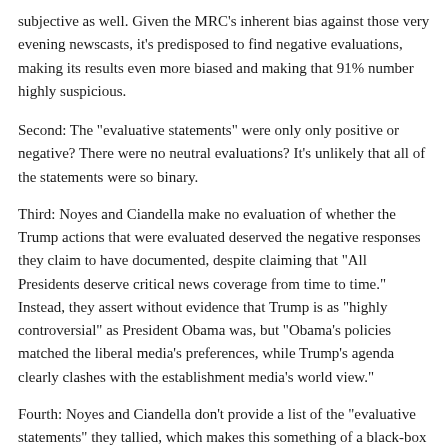subjective as well. Given the MRC's inherent bias against those very evening newscasts, it's predisposed to find negative evaluations, making its results even more biased and making that 91% number highly suspicious.
Second: The "evaluative statements" were only only positive or negative? There were no neutral evaluations? It's unlikely that all of the statements were so binary.
Third: Noyes and Ciandella make no evaluation of whether the Trump actions that were evaluated deserved the negative responses they claim to have documented, despite claiming that "All Presidents deserve critical news coverage from time to time." Instead, they assert without evidence that Trump is as "highly controversial" as President Obama was, but "Obama's policies matched the liberal media's preferences, while Trump's agenda clearly clashes with the establishment media's world view."
Fourth: Noyes and Ciandella don't provide a list of the "evaluative statements" they tallied, which makes this something of a black-box exercise. Perhaps they don't want people to know just how subjective their judgments are.
While Concha doesn't appear to think so, there's plenty to challenge about the MRC's data -- and it demonstrates that this study does not